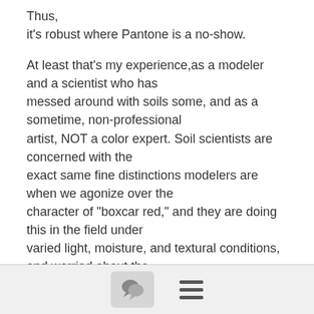Thus,
it's robust where Pantone is a no-show.

At least that's my experience,as a modeler and a scientist who has
messed around with soils some, and as a sometime, non-professional
artist, NOT a color expert. Soil scientists are concerned with the exact same fine distinctions modelers are when we agonize over the
character of "boxcar red," and they are doing this in the field under
varied light, moisture, and textural conditions, and worried about the
translation to lab conditions too. That's got close physical and perceptual similarity to the problem we face translating prototype to
model.  They've had maybe some two hundred years to make up their
[Figure (other): Footer bar with a comment/speech bubble button icon and a hamburger menu icon]